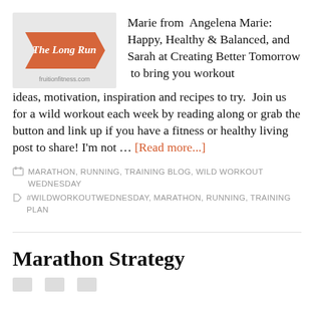[Figure (illustration): Book/blog graphic with red arrow shape and text 'The Long Run' in cursive, with 'fruitionfitness.com' at bottom on light gray background]
Marie from  Angelena Marie: Happy, Healthy & Balanced, and Sarah at Creating Better Tomorrow  to bring you workout ideas, motivation, inspiration and recipes to try.  Join us for a wild workout each week by reading along or grab the button and link up if you have a fitness or healthy living post to share! I'm not … [Read more...]
MARATHON, RUNNING, TRAINING BLOG, WILD WORKOUT WEDNESDAY
#WILDWORKOUTWEDNESDAY, MARATHON, RUNNING, TRAINING PLAN
Marathon Strategy